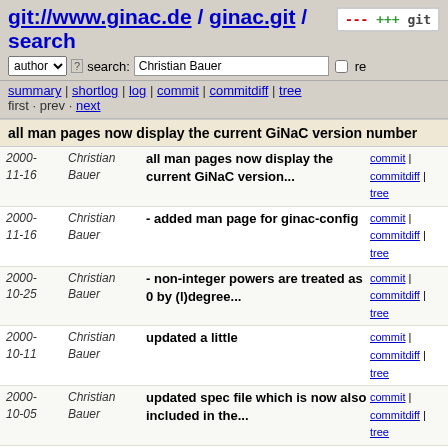git://www.ginac.de / ginac.git / search
author search: Christian Bauer re
summary | shortlog | log | commit | commitdiff | tree
first · prev · next
all man pages now display the current GiNaC version number
| Date | Author | Message | Links |
| --- | --- | --- | --- |
| 2000-11-16 | Christian Bauer | all man pages now display the current GiNaC version... | commit | commitdiff | tree |
| 2000-11-16 | Christian Bauer | - added man page for ginac-config | commit | commitdiff | tree |
| 2000-10-25 | Christian Bauer | - non-integer powers are treated as 0 by (l)degree... | commit | commitdiff | tree |
| 2000-10-11 | Christian Bauer | updated a little | commit | commitdiff | tree |
| 2000-10-05 | Christian Bauer | updated spec file which is now also included in the... | commit | commitdiff | tree |
| 2000-08-28 | Christian Bauer | - removed non-sources from CVS | commit | commitdiff | tree |
| 2000-08-11 | Christian Bauer | - more indentation fixes | commit | commitdiff | tree |
| 2000-08-11 | Christian Bauer | - fixes to the indentation | commit | commitdiff | tree |
| 2000-08-11 | Christian Bauer | - indentation is now done with tabs | commit | commitdiff |